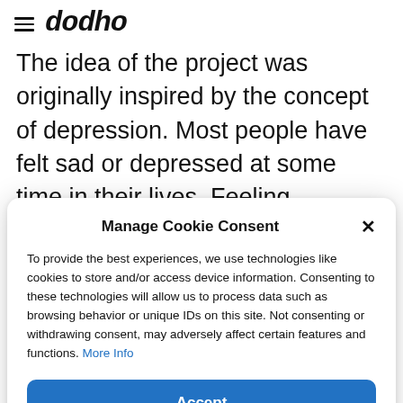dodho
The idea of the project was originally inspired by the concept of depression. Most people have felt sad or depressed at some time in their lives. Feeling depressed can be a normal
Manage Cookie Consent
To provide the best experiences, we use technologies like cookies to store and/or access device information. Consenting to these technologies will allow us to process data such as browsing behavior or unique IDs on this site. Not consenting or withdrawing consent, may adversely affect certain features and functions. More Info
Accept